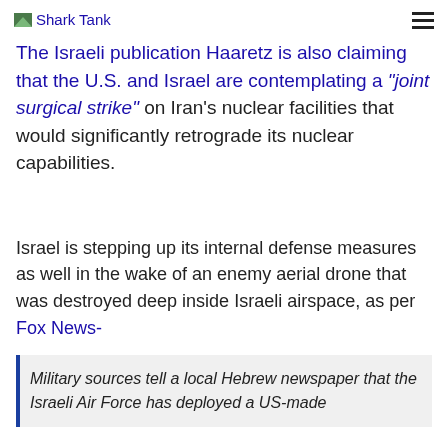Shark Tank
The Israeli publication Haaretz is also claiming that the U.S. and Israel are contemplating a “joint surgical strike” on Iran’s nuclear facilities that would significantly retrograde its nuclear capabilities.
Israel is stepping up its internal defense measures as well in the wake of an enemy aerial drone that was destroyed deep inside Israeli airspace, as per Fox News-
Military sources tell a local Hebrew newspaper that the Israeli Air Force has deployed a US-made